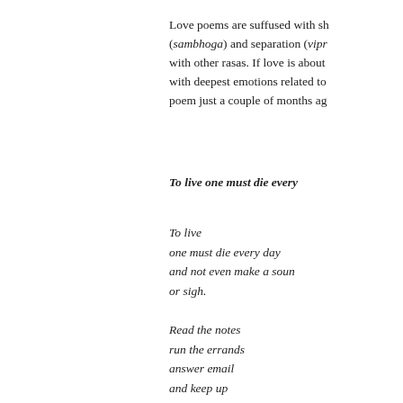Love poems are suffused with sh... (sambhoga) and separation (vipr... with other rasas. If love is about with deepest emotions related to poem just a couple of months ag...
To live one must die every...
To live
one must die every day
and not even make a sound
or sigh.

Read the notes
run the errands
answer email
and keep up
with stories of the day.